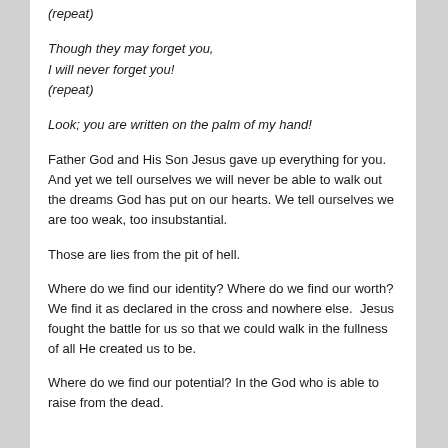(repeat)
Though they may forget you,
I will never forget you!
(repeat)
Look; you are written on the palm of my hand!
Father God and His Son Jesus gave up everything for you. And yet we tell ourselves we will never be able to walk out the dreams God has put on our hearts. We tell ourselves we are too weak, too insubstantial.
Those are lies from the pit of hell.
Where do we find our identity? Where do we find our worth? We find it as declared in the cross and nowhere else.  Jesus fought the battle for us so that we could walk in the fullness of all He created us to be.
Where do we find our potential? In the God who is able to raise from the dead.